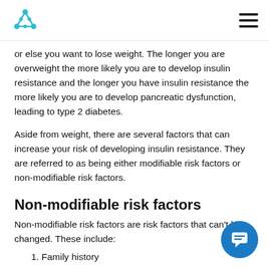[Logo] [Hamburger menu]
or else you want to lose weight. The longer you are overweight the more likely you are to develop insulin resistance and the longer you have insulin resistance the more likely you are to develop pancreatic dysfunction, leading to type 2 diabetes.
Aside from weight, there are several factors that can increase your risk of developing insulin resistance. They are referred to as being either modifiable risk factors or non-modifiable risk factors.
Non-modifiable risk factors
Non-modifiable risk factors are risk factors that can't be changed. These include:
1. Family history